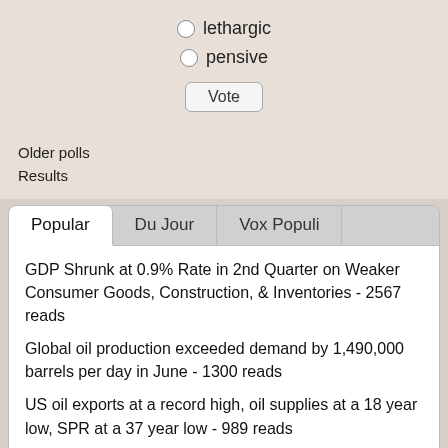lethargic
pensive
Vote
Older polls
Results
Popular | Du Jour | Vox Populi
GDP Shrunk at 0.9% Rate in 2nd Quarter on Weaker Consumer Goods, Construction, & Inventories - 2567 reads
Global oil production exceeded demand by 1,490,000 barrels per day in June - 1300 reads
US oil exports at a record high, oil supplies at a 18 year low, SPR at a 37 year low - 989 reads